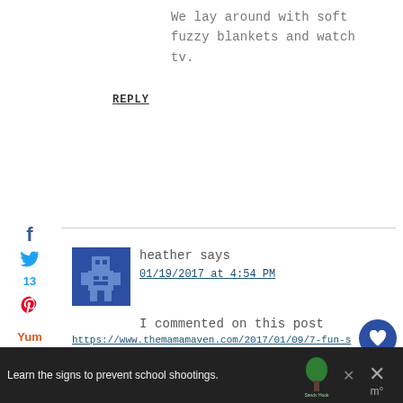We lay around with soft fuzzy blankets and watch tv.
REPLY
heather says
01/19/2017 at 4:54 PM
I commented on this post
https://www.themamamaven.com/2017/01/09/7-fun-snow-day-activities-for-kids/#comment-86782
REPLY
13
SHARES
13
14
Learn the signs to prevent school shootings.